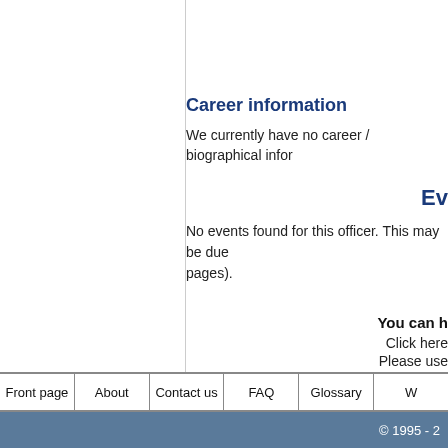Career information
We currently have no career / biographical infor
Ev
No events found for this officer. This may be due pages).
You can h
Click here
Please use
Front page | About | Contact us | FAQ | Glossary | ...
© 1995 - 2